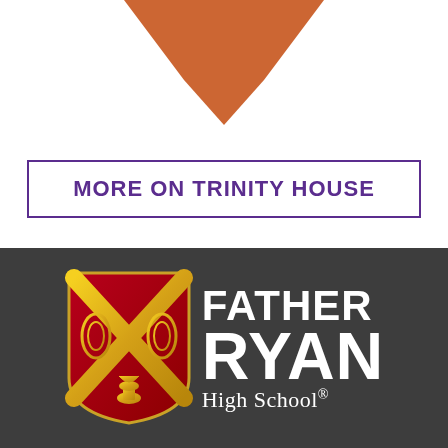[Figure (illustration): Orange/terracotta colored downward-pointing chevron or heart shape at the top of the page on white background]
MORE ON TRINITY HOUSE
[Figure (logo): Father Ryan High School logo: a heraldic shield with red background, gold X cross (saltire), gold laurel wreaths, and a gold chalice at the bottom. Next to the shield is the text 'FATHER RYAN High School®' in white on dark gray background.]